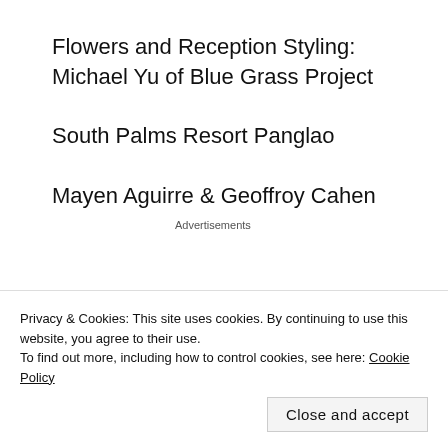Flowers and Reception Styling: Michael Yu of Blue Grass Project
South Palms Resort Panglao
Mayen Aguirre & Geoffroy Cahen
Advertisements
[Figure (other): Advertisement banner with text 'Professionally designed sites in less']
Privacy & Cookies: This site uses cookies. By continuing to use this website, you agree to their use.
To find out more, including how to control cookies, see here: Cookie Policy
Close and accept